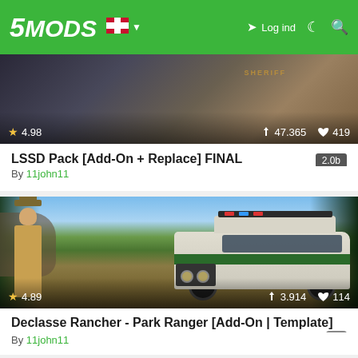5MODS | Log ind
[Figure (screenshot): Game screenshot showing sheriff vehicles, with stats: rating 4.98, downloads 47,365, likes 419]
LSSD Pack [Add-On + Replace] FINAL 2.0b
By 11john11
[Figure (screenshot): Game screenshot showing a park ranger standing next to a Declasse Rancher SUV with green stripe and lightbar in a forested area. Stats: rating 4.89, downloads 3,914, likes 114]
Declasse Rancher - Park Ranger [Add-On | Template]
By 11john11